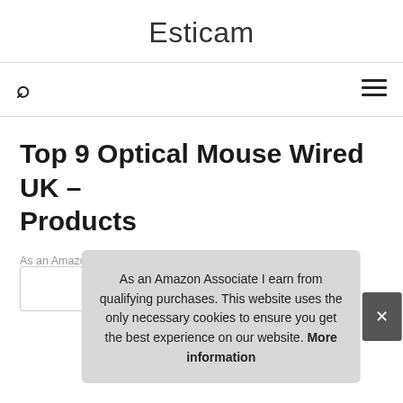Esticam
Top 9 Optical Mouse Wired UK – Products
As an Amazon Associate I earn from qualifying purchases.
1.
As an Amazon Associate I earn from qualifying purchases. This website uses the only necessary cookies to ensure you get the best experience on our website. More information